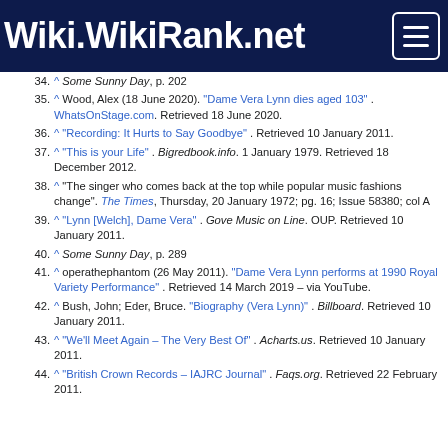Wiki.WikiRank.net
34. ^ Some Sunny Day, p. 202
35. ^ Wood, Alex (18 June 2020). "Dame Vera Lynn dies aged 103" . WhatsOnStage.com. Retrieved 18 June 2020.
36. ^ "Recording: It Hurts to Say Goodbye" . Retrieved 10 January 2011.
37. ^ "This is your Life" . Bigredbook.info. 1 January 1979. Retrieved 18 December 2012.
38. ^ "The singer who comes back at the top while popular music fashions change". The Times, Thursday, 20 January 1972; pg. 16; Issue 58380; col A
39. ^ "Lynn [Welch], Dame Vera" . Gove Music on Line. OUP. Retrieved 10 January 2011.
40. ^ Some Sunny Day, p. 289
41. ^ operathephantom (26 May 2011). "Dame Vera Lynn performs at 1990 Royal Variety Performance" . Retrieved 14 March 2019 – via YouTube.
42. ^ Bush, John; Eder, Bruce. "Biography (Vera Lynn)" . Billboard. Retrieved 10 January 2011.
43. ^ "We'll Meet Again – The Very Best Of" . Acharts.us. Retrieved 10 January 2011.
44. ^ "British Crown Records – IAJRC Journal" . Faqs.org. Retrieved 22 February 2011.